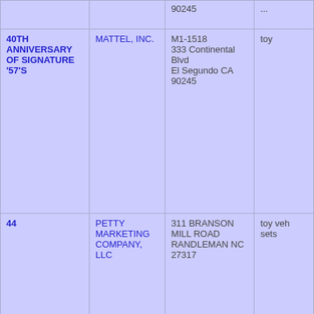|  |  | 90245 | ... |
| 40TH ANNIVERSARY OF SIGNATURE '57'S | MATTEL, INC. | M1-1518
333 Continental Blvd
El Segundo CA
90245 | toy... |
| 44 | PETTY MARKETING COMPANY, LLC | 311 BRANSON MILL ROAD
RANDLEMAN NC
27317 | toy veh sets... |
| 45 | Adam Petty, Inc. | 311 Branson Mill Road
Randleman NC
27317 | TOY VEH VEH SET... |
| 4WARD SPEED | MATTEL, INC. | M1-1518
333 CONTINENTAL BOULEVARD
EL SEGUNDO CA
90245 | TOY AND ACC THE... |